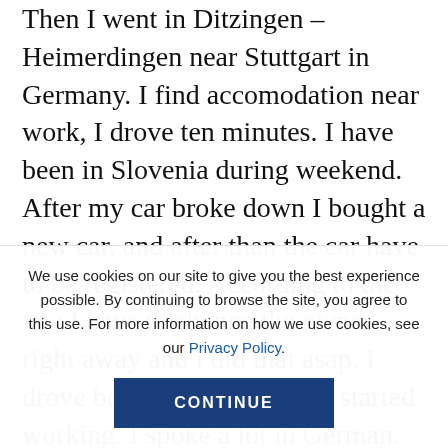Then I went in Ditzingen – Heimerdingen near Stuttgart in Germany. I find accomodation near work, I drove ten minutes. I have been in Slovenia during weekend. After my car broke down I bought a new car, and after than the car have to be registered. According to the law I have to change the owner right away and i did that asap. I drove back in Germany and started working. I spoke a lot in German. Sometimes english, somethimes german. I come to work very motivated. After I get a call from my company that I HAVE TO END THE WORK I was really surprised. I drive to Faulbach to...
We use cookies on our site to give you the best experience possible. By continuing to browse the site, you agree to this use. For more information on how we use cookies, see our Privacy Policy.
CONTINUE